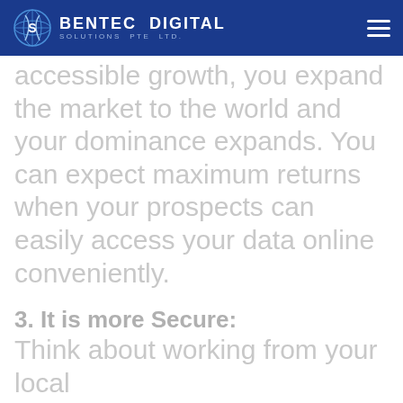Bentec Digital Solutions Pte Ltd.
accessible growth, you expand the market to the world and your dominance expands. You can expect maximum returns when your prospects can easily access your data online conveniently.
3. It is more Secure:
Think about working from your local